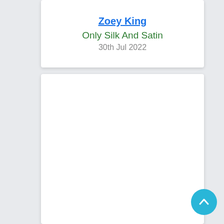Zoey King
Only Silk And Satin
30th Jul 2022
[Figure (other): Empty white card panel below the book listing card]
[Figure (other): Scroll-to-top circular button with upward chevron arrow in cyan/teal color]